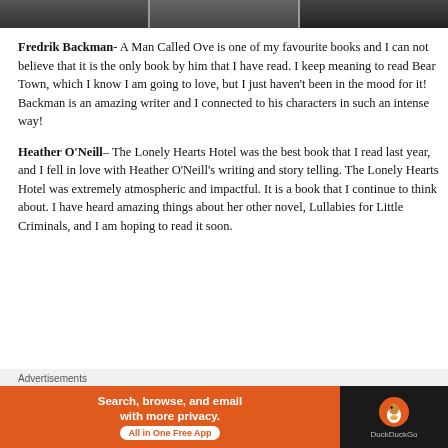[Figure (photo): Three cropped portrait photo thumbnails in a horizontal strip at the top of the page]
Fredrik Backman- A Man Called Ove is one of my favourite books and I can not believe that it is the only book by him that I have read. I keep meaning to read Bear Town, which I know I am going to love, but I just haven't been in the mood for it! Backman is an amazing writer and I connected to his characters in such an intense way!
Heather O'Neill–  The Lonely Hearts Hotel was the best book that I read last year, and I fell in love with Heather O'Neill's writing and story telling.  The Lonely Hearts Hotel was extremely atmospheric and impactful.  It is a book that I continue to think about.  I have heard amazing things about her other novel, Lullabies for Little Criminals, and I am hoping to read it soon.
Advertisements
[Figure (other): DuckDuckGo advertisement banner: orange section with 'Search, browse, and email with more privacy. All in One Free App' and dark section with DuckDuckGo logo]